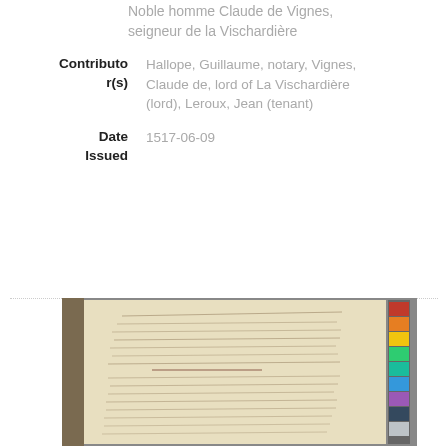Noble homme Claude de Vignes, seigneur de la Vischardière
Contributor(s)
Hallope, Guillaume, notary, Vignes, Claude de, lord of La Vischardière (lord), Leroux, Jean (tenant)
Date Issued
1517-06-09
[Figure (photo): Photograph of a handwritten manuscript page in French, an old document with handwriting in brown ink on cream/aged paper, with a color calibration strip visible on the right side.]